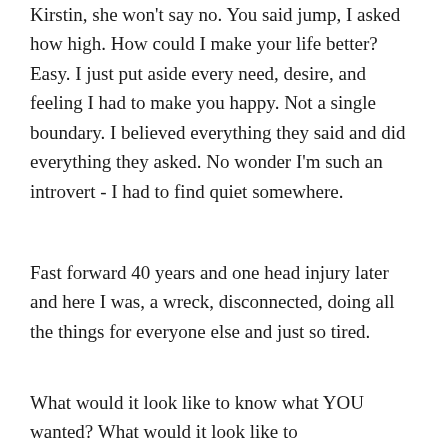Kirstin, she won't say no. You said jump, I asked how high. How could I make your life better? Easy. I just put aside every need, desire, and feeling I had to make you happy. Not a single boundary. I believed everything they said and did everything they asked. No wonder I'm such an introvert - I had to find quiet somewhere.
Fast forward 40 years and one head injury later and here I was, a wreck, disconnected, doing all the things for everyone else and just so tired.
What would it look like to know what YOU wanted? What would it look like to